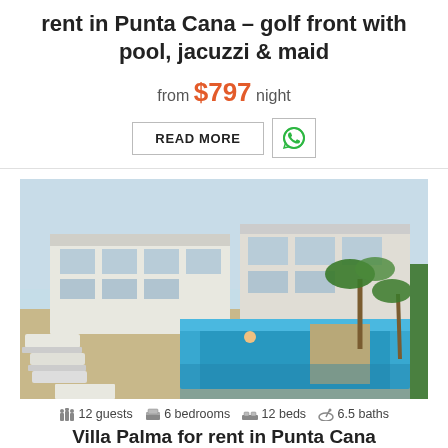rent in Punta Cana – golf front with pool, jacuzzi & maid
from $797 night
[Figure (photo): Luxury modern villa with large swimming pool, palm trees, and lounge chairs in Punta Cana]
12 guests  6 bedrooms  12 beds  6.5 baths
Villa Palma for rent in Punta Cana